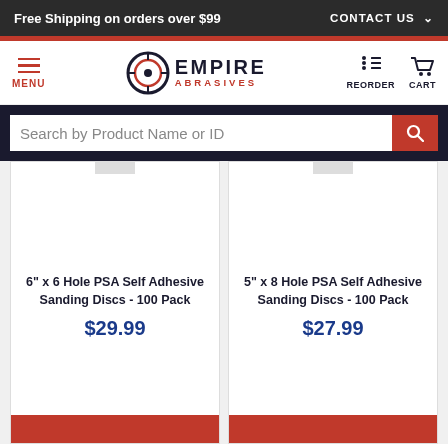Free Shipping on orders over $99
[Figure (logo): Empire Abrasives logo with circular disc icon]
Search by Product Name or ID
6" x 6 Hole PSA Self Adhesive Sanding Discs - 100 Pack
$29.99
5" x 8 Hole PSA Self Adhesive Sanding Discs - 100 Pack
$27.99